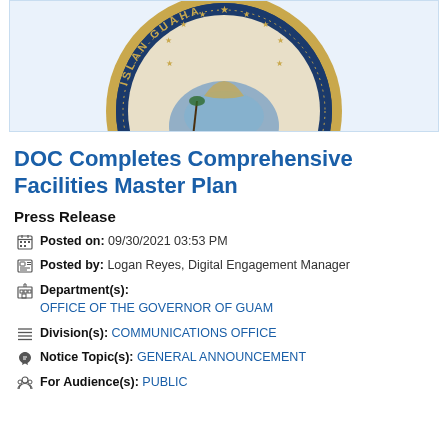[Figure (logo): Seal of Guam (Islan Guahan) – partial view showing the top portion of the circular official seal with navy blue and gold colors, stars, and text around the border]
DOC Completes Comprehensive Facilities Master Plan
Press Release
Posted on: 09/30/2021 03:53 PM
Posted by: Logan Reyes, Digital Engagement Manager
Department(s): OFFICE OF THE GOVERNOR OF GUAM
Division(s): COMMUNICATIONS OFFICE
Notice Topic(s): GENERAL ANNOUNCEMENT
For Audience(s): PUBLIC